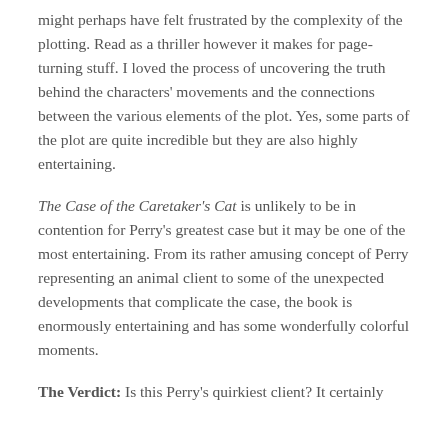might perhaps have felt frustrated by the complexity of the plotting. Read as a thriller however it makes for page-turning stuff. I loved the process of uncovering the truth behind the characters' movements and the connections between the various elements of the plot. Yes, some parts of the plot are quite incredible but they are also highly entertaining.
The Case of the Caretaker's Cat is unlikely to be in contention for Perry's greatest case but it may be one of the most entertaining. From its rather amusing concept of Perry representing an animal client to some of the unexpected developments that complicate the case, the book is enormously entertaining and has some wonderfully colorful moments.
The Verdict: Is this Perry's quirkiest client? It certainly